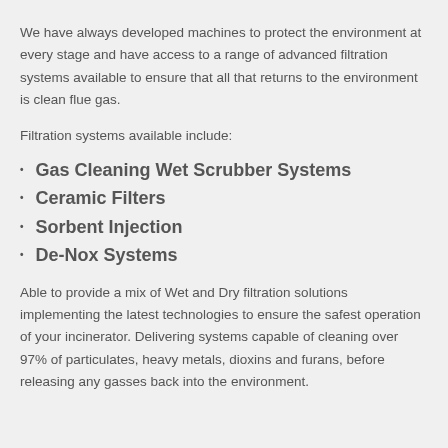We have always developed machines to protect the environment at every stage and have access to a range of advanced filtration systems available to ensure that all that returns to the environment is clean flue gas.
Filtration systems available include:
Gas Cleaning Wet Scrubber Systems
Ceramic Filters
Sorbent Injection
De-Nox Systems
Able to provide a mix of Wet and Dry filtration solutions implementing the latest technologies to ensure the safest operation of your incinerator.  Delivering systems capable of cleaning over 97% of particulates, heavy metals, dioxins and furans, before releasing any gasses back into the environment.